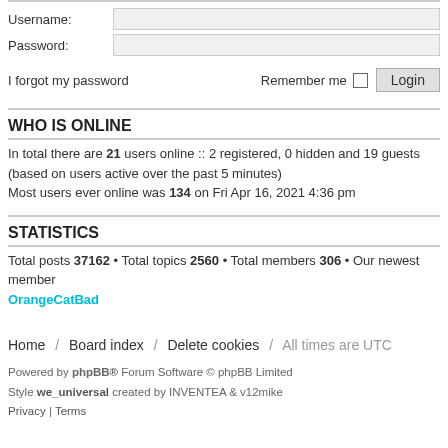[Figure (screenshot): Login form with Username and Password fields]
I forgot my password    Remember me □   Login
WHO IS ONLINE
In total there are 21 users online :: 2 registered, 0 hidden and 19 guests (based on users active over the past 5 minutes)
Most users ever online was 134 on Fri Apr 16, 2021 4:36 pm
STATISTICS
Total posts 37162 • Total topics 2560 • Total members 306 • Our newest member OrangeCatBad
Home / Board index / Delete cookies / All times are UTC
Powered by phpBB® Forum Software © phpBB Limited
Style we_universal created by INVENTEA & v12mike
Privacy | Terms